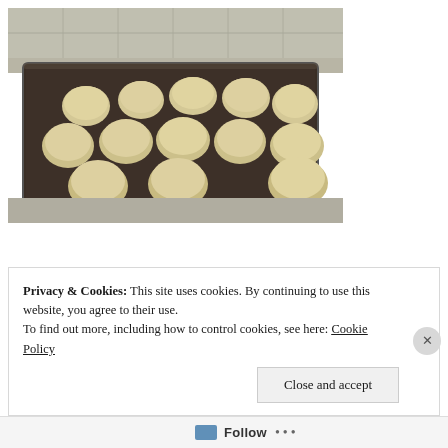[Figure (photo): A baking tray/sheet pan with approximately 12 unbaked biscuits or dough rounds arranged on it, placed on a kitchen counter with tile backsplash visible in the background.]
Privacy & Cookies: This site uses cookies. By continuing to use this website, you agree to their use.
To find out more, including how to control cookies, see here: Cookie Policy
Close and accept
Follow